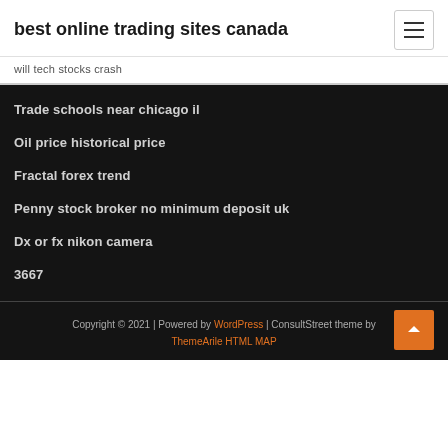best online trading sites canada
will tech stocks crash
Trade schools near chicago il
Oil price historical price
Fractal forex trend
Penny stock broker no minimum deposit uk
Dx or fx nikon camera
3667
Copyright © 2021 | Powered by WordPress | ConsultStreet theme by ThemeArile HTML MAP